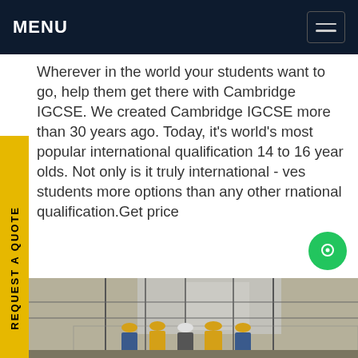MENU
Wherever in the world your students want to go, help them get there with Cambridge IGCSE. We created Cambridge IGCSE more than 30 years ago. Today, it's world's most popular international qualification 14 to 16 year olds. Not only is it truly international - ves students more options than any other rnational qualification.Get price
[Figure (photo): Workers in yellow hard hats and blue/yellow overalls gathered at an outdoor electrical substation or industrial site, with metal framework and industrial buildings in the background.]